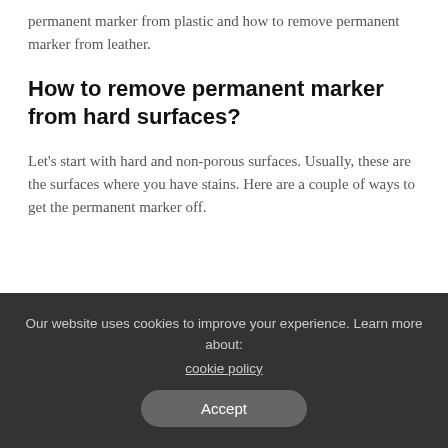permanent marker from plastic and how to remove permanent marker from leather.
How to remove permanent marker from hard surfaces?
Let's start with hard and non-porous surfaces. Usually, these are the surfaces where you have stains. Here are a couple of ways to get the permanent marker off.
Our website uses cookies to improve your experience. Learn more about: cookie policy  Accept